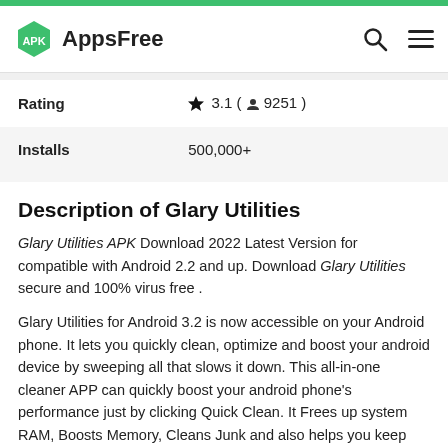APK AppsFree
| Rating | ★ 3.1 ( 🧑 9251 ) |
| Installs | 500,000+ |
Description of Glary Utilities
Glary Utilities APK Download 2022 Latest Version for compatible with Android 2.2 and up. Download Glary Utilities secure and 100% virus free .
Glary Utilities for Android 3.2 is now accessible on your Android phone. It lets you quickly clean, optimize and boost your android device by sweeping all that slows it down. This all-in-one cleaner APP can quickly boost your android phone's performance just by clicking Quick Clean. It Frees up system RAM, Boosts Memory, Cleans Junk and also helps you keep your privacy in an efficient way.